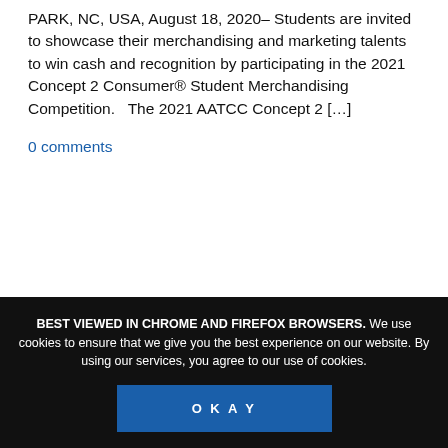PARK, NC, USA, August 18, 2020— Students are invited to showcase their merchandising and marketing talents to win cash and recognition by participating in the 2021 Concept 2 Consumer® Student Merchandising Competition.   The 2021 AATCC Concept 2 […]
0 comments
BEST VIEWED IN CHROME AND FIREFOX BROWSERS. We use cookies to ensure that we give you the best experience on our website. By using our services, you agree to our use of cookies. OKAY